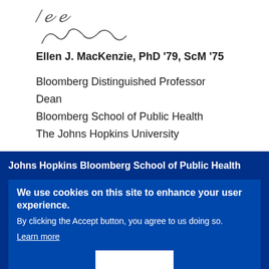[Figure (illustration): Handwritten signature of Ellen J. MacKenzie]
Ellen J. MacKenzie, PhD '79, ScM '75
Bloomberg Distinguished Professor
Dean
Bloomberg School of Public Health
The Johns Hopkins University
Johns Hopkins Bloomberg School of Public Health
We use cookies on this site to enhance your user experience.
By clicking the Accept button, you agree to us doing so.
Learn more